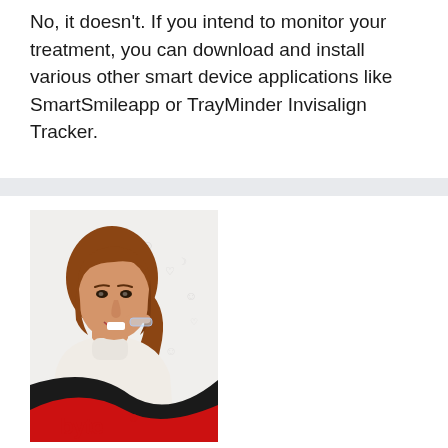No, it doesn't. If you intend to monitor your treatment, you can download and install various other smart device applications like SmartSmileapp or TrayMinder Invisalign Tracker.
[Figure (photo): Advertisement image for 'byte' dental aligner brand. Shows a young woman with brown hair in a ponytail, wearing a white turtleneck sweater, placing a clear aligner tray in her mouth. The background has small dental/smile icons. The lower portion has a curved black and red design with the 'byte' logo in red text with a registered trademark symbol.]